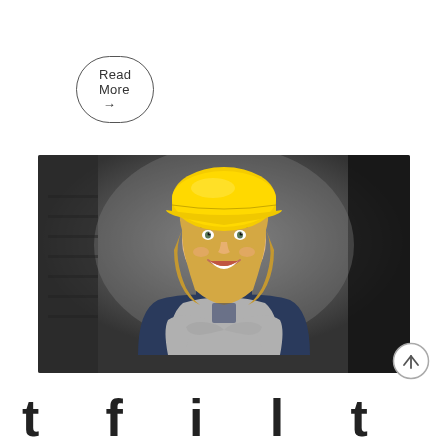Read More →
[Figure (photo): A smiling young woman wearing a yellow hard hat and blue overalls crossed arms, standing in a construction site interior with grey walls]
[Figure (other): Circular scroll-to-top button with upward arrow]
t        f        i        l        t